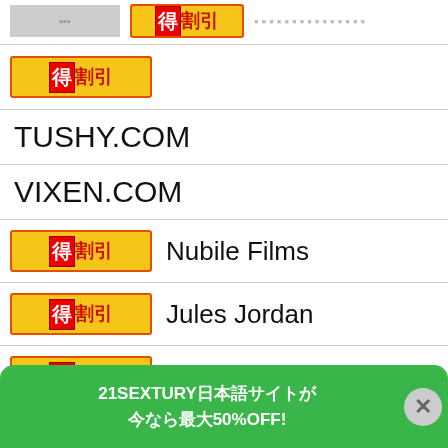[badge] [thumbnail]
TUSHY.COM
VIXEN.COM
[badge] Nubile Films
[badge] Jules Jordan
[badge] VideosZ
[badge] Scoreland
[badge] Swallowed.com
K...
21SEXTURY 50%OFF!